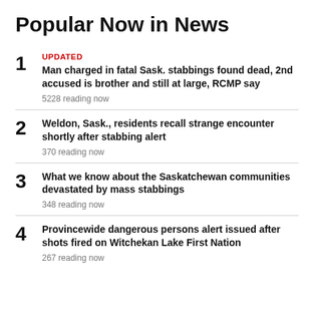Popular Now in News
UPDATED
Man charged in fatal Sask. stabbings found dead, 2nd accused is brother and still at large, RCMP say
5228 reading now
Weldon, Sask., residents recall strange encounter shortly after stabbing alert
370 reading now
What we know about the Saskatchewan communities devastated by mass stabbings
348 reading now
Provincewide dangerous persons alert issued after shots fired on Witchekan Lake First Nation
267 reading now